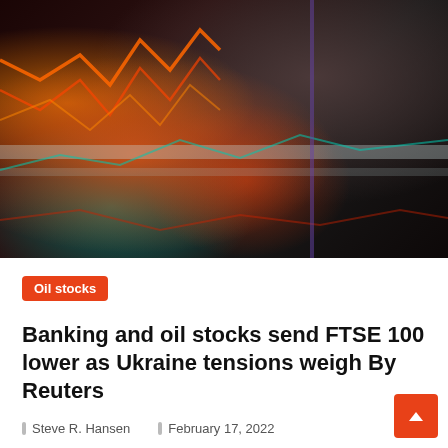[Figure (photo): A man looking at colorful stock market trading screens with red, orange, and teal chart lines glowing against a dark background. The image shows a trader or analyst viewing financial data displays.]
Oil stocks
Banking and oil stocks send FTSE 100 lower as Ukraine tensions weigh By Reuters
Steve R. Hansen   February 17, 2022